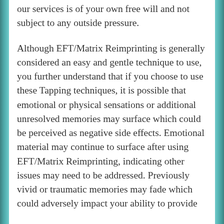our services is of your own free will and not subject to any outside pressure.
Although EFT/Matrix Reimprinting is generally considered an easy and gentle technique to use, you further understand that if you choose to use these Tapping techniques, it is possible that emotional or physical sensations or additional unresolved memories may surface which could be perceived as negative side effects. Emotional material may continue to surface after using EFT/Matrix Reimprinting, indicating other issues may need to be addressed. Previously vivid or traumatic memories may fade which could adversely impact your ability to provide